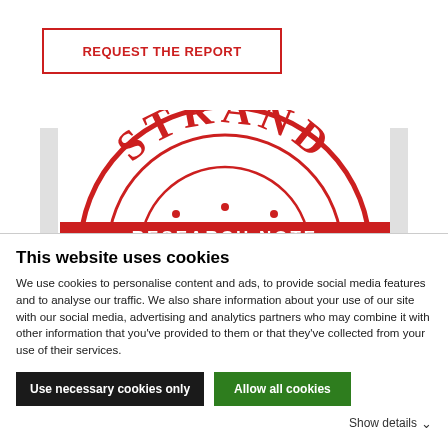REQUEST THE REPORT
[Figure (logo): Strand Research Note logo — a red semicircular stamp/seal with 'STRAND' arched at the top in red serif letters, a red banner at the bottom reading 'RESEARCH NOTE' in white text, and two concentric red semicircles with decorative dots.]
This website uses cookies
We use cookies to personalise content and ads, to provide social media features and to analyse our traffic. We also share information about your use of our site with our social media, advertising and analytics partners who may combine it with other information that you've provided to them or that they've collected from your use of their services.
Use necessary cookies only
Allow all cookies
Show details